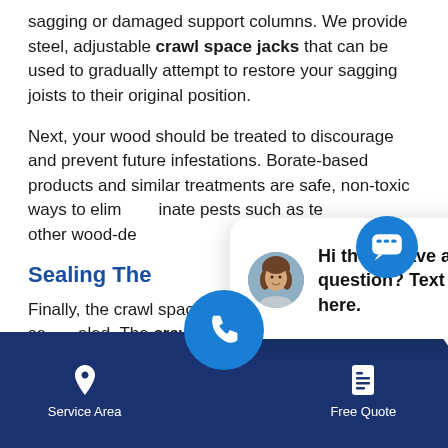sagging or damaged support columns. We provide steel, adjustable crawl space jacks that can be used to gradually attempt to restore your sagging joists to their original position.
Next, your wood should be treated to discourage and prevent future infestations. Borate-based products and similar treatments are safe, non-toxic ways to eliminate pests such as termites, and other wood-destroying insects.
Sealing The
Finally, the crawl space should be completely sealed. The crawl space vents should be sealed off to prevent termites, ants, and other pests from accessing them,
[Figure (screenshot): Chat bubble overlay with avatar photo of a woman and text: 'Hi there, have a question? Text us here.' with a close button.]
[Figure (screenshot): Mobile app footer navigation bar with dark blue background, Service Area (pin icon), phone call button (blue circle), and Free Quote (document icon) buttons.]